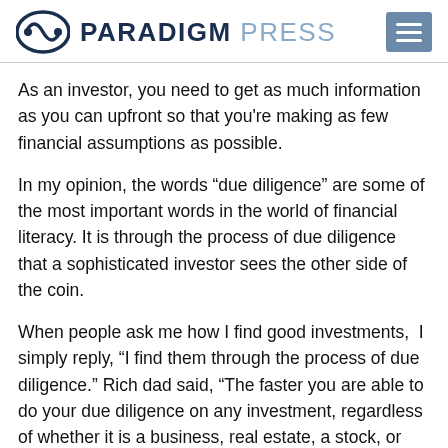PARADIGM PRESS
As an investor, you need to get as much information as you can upfront so that you're making as few financial assumptions as possible.
In my opinion, the words “due diligence” are some of the most important words in the world of financial literacy. It is through the process of due diligence that a sophisticated investor sees the other side of the coin.
When people ask me how I find good investments,  I simply reply, “I find them through the process of due diligence.” Rich dad said, “The faster you are able to do your due diligence on any investment, regardless of whether it is a business, real estate, a stock, or